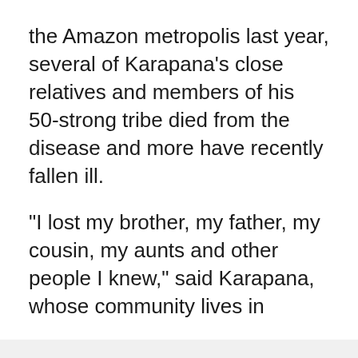the Amazon metropolis last year, several of Karapana's close relatives and members of his 50-strong tribe died from the disease and more have recently fallen ill.
"I lost my brother, my father, my cousin, my aunts and other people I knew," said Karapana, whose community lives in
We use cookies
We use cookies and other tracking technologies to improve your browsing experience on our website, to show you personalized content and targeted ads, to analyze our website traffic, and to understand where our visitors are coming from.